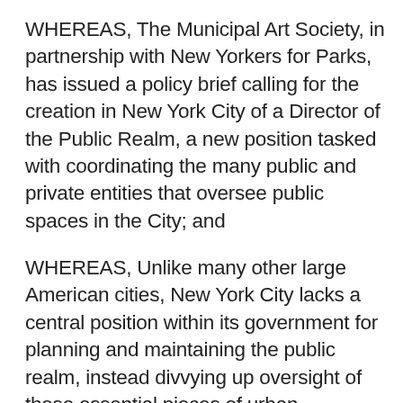WHEREAS, The Municipal Art Society, in partnership with New Yorkers for Parks, has issued a policy brief calling for the creation in New York City of a Director of the Public Realm, a new position tasked with coordinating the many public and private entities that oversee public spaces in the City; and
WHEREAS, Unlike many other large American cities, New York City lacks a central position within its government for planning and maintaining the public realm, instead divvying up oversight of these essential pieces of urban infrastructure across a vast array of City agencies and private entities that do not coordinate consistently or comprehensively; and
WHEREAS, Public parks, pedestrian plazas, sidewalks, street beds, privately-owned public spaces, and playgrounds fall under the jurisdiction of a vast array of agencies and different…